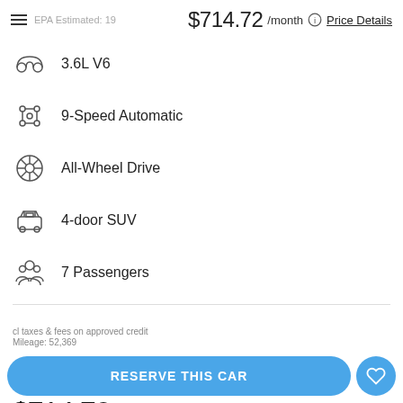$714.72 /month Price Details
3.6L V6
9-Speed Automatic
All-Wheel Drive
4-door SUV
7 Passengers
FINANCE   CASH
$714.72* /month  Price Details
RESERVE THIS CAR